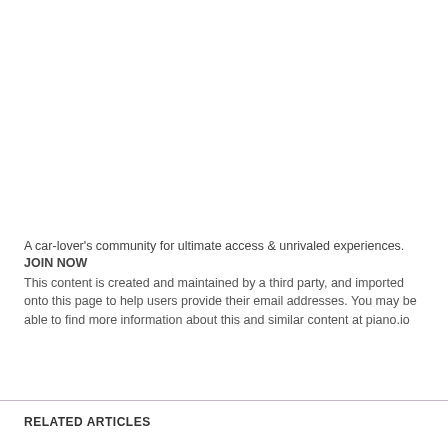A car-lover's community for ultimate access & unrivaled experiences.
JOIN NOW
This content is created and maintained by a third party, and imported onto this page to help users provide their email addresses. You may be able to find more information about this and similar content at piano.io
RELATED ARTICLES